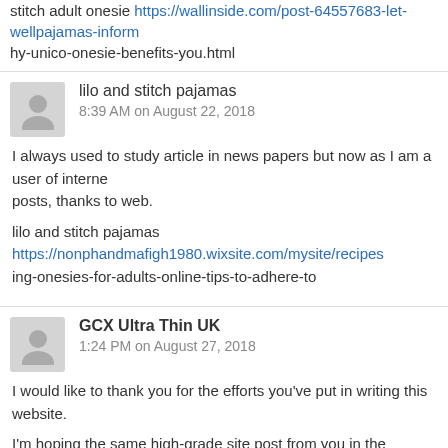stitch adult onesie https://wallinside.com/post-64557683-let-wellpajamas-inform-hy-unico-onesie-benefits-you.html
lilo and stitch pajamas
8:39 AM on August 22, 2018
I always used to study article in news papers but now as I am a user of internet so from now I am using net for posts, thanks to web.
lilo and stitch pajamas https://nonphandmafigh1980.wixsite.com/mysite/recipes-ing-onesies-for-adults-online-tips-to-adhere-to
GCX Ultra Thin UK
1:24 PM on August 27, 2018
I would like to thank you for the efforts you've put in writing this website.
I'm hoping the same high-grade site post from you in the upcoming also. Actually your creative writing skills has encouraged me to get my own site now. Actually the blogging is spreading its wings fast. Your write up is a great example of it. http://www.2handhk.com/space-uid-2120